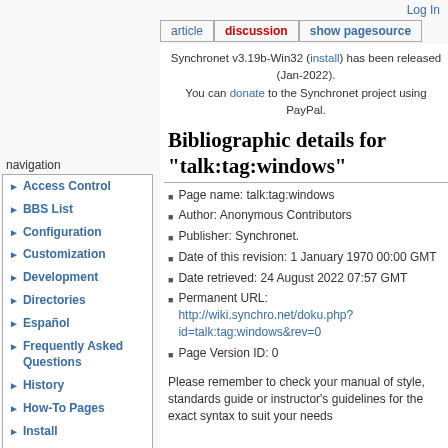Log In
article | discussion | show pagesource
Synchronet v3.19b-Win32 (install) has been released (Jan-2022). You can donate to the Synchronet project using PayPal.
Bibliographic details for "talk:tag:windows"
Page name: talk:tag:windows
Author: Anonymous Contributors
Publisher: Synchronet.
Date of this revision: 1 January 1970 00:00 GMT
Date retrieved: 24 August 2022 07:57 GMT
Permanent URL: http://wiki.synchro.net/doku.php?id=talk:tag:windows&rev=0
Page Version ID: 0
Please remember to check your manual of style, standards guide or instructor's guidelines for the exact syntax to suit your needs
navigation
Access Control
BBS List
Configuration
Customization
Development
Directories
Español
Frequently Asked Questions
History
How-To Pages
Install
Modules
Monitoring
Networks